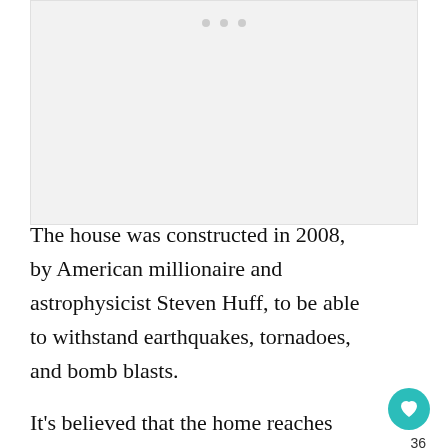[Figure (photo): Light gray image placeholder with three dots at the top center, indicating a loading or blank image area]
The house was constructed in 2008, by American millionaire and astrophysicist Steven Huff, to be able to withstand earthquakes, tornadoes, and bomb blasts.
It’s believed that the home reaches approximately five stories high, and contains